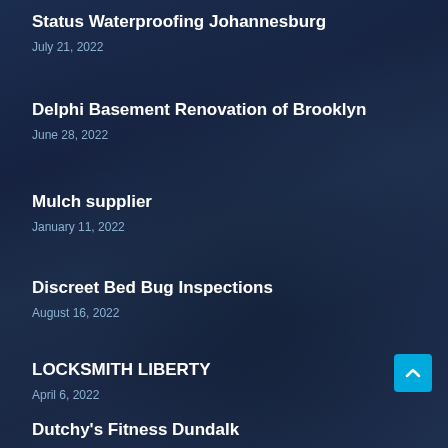Status Waterproofing Johannesburg
July 21, 2022
Delphi Basement Renovation of Brooklyn
June 28, 2022
Mulch supplier
January 11, 2022
Discreet Bed Bug Inspections
August 16, 2022
LOCKSMITH LIBERTY
April 6, 2022
Dutchy's Fitness Dundalk